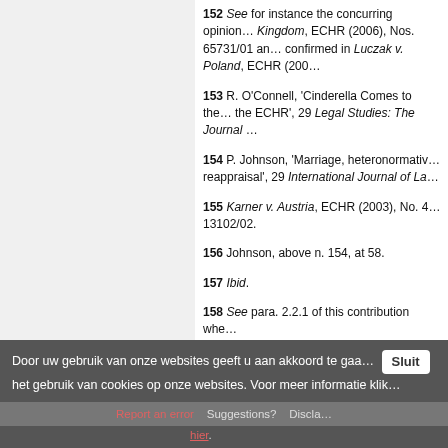152 See for instance the concurring opinion… Kingdom, ECHR (2006), Nos. 65731/01 an… confirmed in Luczak v. Poland, ECHR (200…
153 R. O'Connell, 'Cinderella Comes to the… the ECHR', 29 Legal Studies: The Journal …
154 P. Johnson, 'Marriage, heteronormativ… reappraisal', 29 International Journal of La…
155 Karner v. Austria, ECHR (2003), No. 4… 13102/02.
156 Johnson, above n. 154, at 58.
157 Ibid.
158 See para. 2.2.1 of this contribution whe…
159 See 'Italy Approves Same-Sex Civil Un… <https://www.nytimes.com/2016/05/12/worl…> 'Greece ends discrimination of gay people i… <https://euobserver.com/lgbti/131660>.